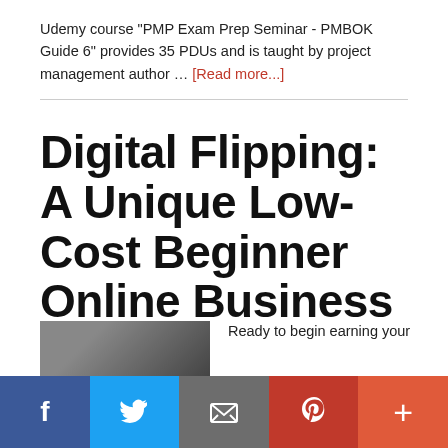Udemy course "PMP Exam Prep Seminar - PMBOK Guide 6" provides 35 PDUs and is taught by project management author … [Read more...]
Digital Flipping: A Unique Low-Cost Beginner Online Business
September 14, 2020
[Figure (photo): Thumbnail image of article about digital flipping]
Ready to begin earning your